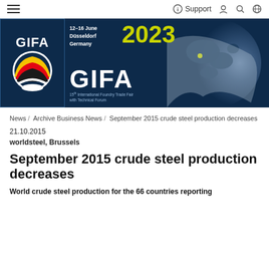Navigation bar with hamburger menu, Support, user, search, and globe icons
[Figure (illustration): GIFA 2023 banner: 12–16 June Düsseldorf Germany 2023 GIFA – 15th International Foundry Trade Fair with Technical Forum. Dark blue background with large GIFA logo on left and globe graphic on right.]
News / Archive Business News / September 2015 crude steel production decreases
21.10.2015
worldsteel, Brussels
September 2015 crude steel production decreases
World crude steel production for the 66 countries reporting